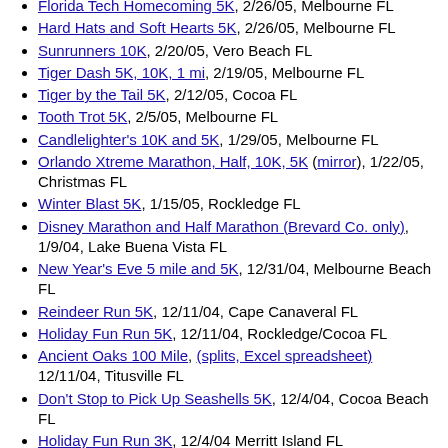Florida Tech Homecoming 5K, 2/26/05, Melbourne FL
Hard Hats and Soft Hearts 5K, 2/26/05, Melbourne FL
Sunrunners 10K, 2/20/05, Vero Beach FL
Tiger Dash 5K, 10K, 1 mi, 2/19/05, Melbourne FL
Tiger by the Tail 5K, 2/12/05, Cocoa FL
Tooth Trot 5K, 2/5/05, Melbourne FL
Candlelighter's 10K and 5K, 1/29/05, Melbourne FL
Orlando Xtreme Marathon, Half, 10K, 5K (mirror), 1/22/05, Christmas FL
Winter Blast 5K, 1/15/05, Rockledge FL
Disney Marathon and Half Marathon (Brevard Co. only), 1/9/04, Lake Buena Vista FL
New Year's Eve 5 mile and 5K, 12/31/04, Melbourne Beach FL
Reindeer Run 5K, 12/11/04, Cape Canaveral FL
Holiday Fun Run 5K, 12/11/04, Rockledge/Cocoa FL
Ancient Oaks 100 Mile, (splits, Excel spreadsheet) 12/11/04, Titusville FL
Don't Stop to Pick Up Seashells 5K, 12/4/04, Cocoa Beach FL
Holiday Fun Run 3K, 12/4/04 Merritt Island FL
Space Coast Marathon and Half Marathon, 11/28/04, Cocoa FL
Sister Run 5K, 11/27/04, Melbourne FL
Turkey Trot 5K, 11/25/04, Cocoa Beach FL